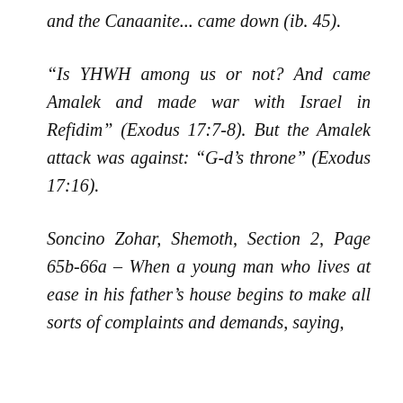and the Canaanite... came down (ib. 45).
“Is YHWH among us or not? And came Amalek and made war with Israel in Refidim” (Exodus 17:7-8). But the Amalek attack was against: “G-d’s throne” (Exodus 17:16).
Soncino Zohar, Shemoth, Section 2, Page 65b-66a – When a young man who lives at ease in his father’s house begins to make all sorts of complaints and demands, saying,